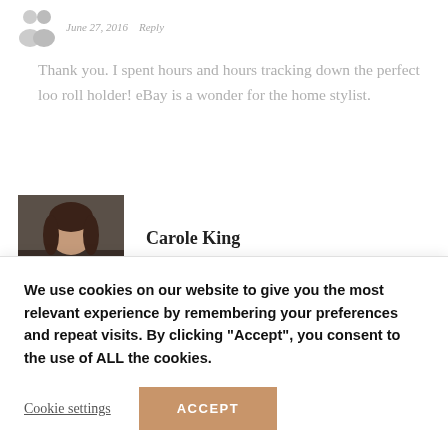June 27, 2016   Reply
Thank you. I spent hours and hours tracking down the perfect loo roll holder! eBay is a wonder for the home stylist.
Carole King
June 27, 2016   Reply
I love the floor Maxine. Can't believe the price. It looks so
We use cookies on our website to give you the most relevant experience by remembering your preferences and repeat visits. By clicking "Accept", you consent to the use of ALL the cookies.
Cookie settings
ACCEPT